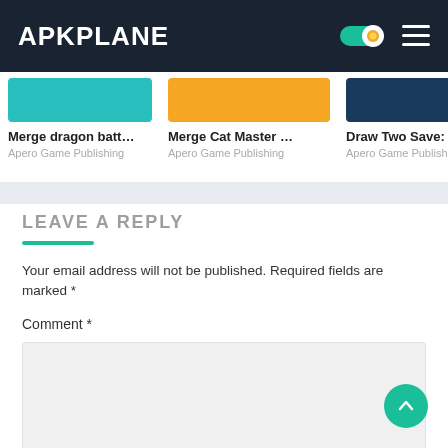APKPLANE
[Figure (screenshot): App card: Merge dragon batt... - Apero Game Publishing]
[Figure (screenshot): App card: Merge Cat Master ... - Apero Game Publishing]
[Figure (screenshot): App card: Draw Two Save: Sa... - Apero Game Publishing]
LEAVE A REPLY
Your email address will not be published. Required fields are marked *
Comment *